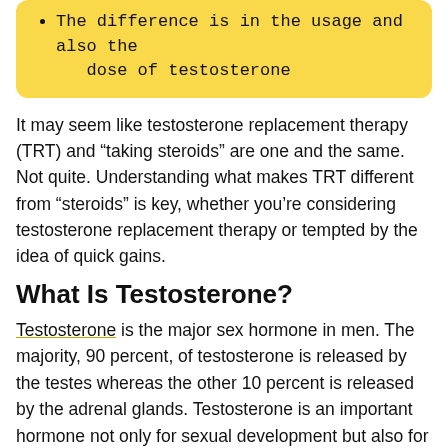The difference is in the usage and also the dose of testosterone
It may seem like testosterone replacement therapy (TRT) and “taking steroids” are one and the same. Not quite. Understanding what makes TRT different from “steroids” is key, whether you’re considering testosterone replacement therapy or tempted by the idea of quick gains.
What Is Testosterone?
Testosterone is the major sex hormone in men. The majority, 90 percent, of testosterone is released by the testes whereas the other 10 percent is released by the adrenal glands. Testosterone is an important hormone not only for sexual development but also for physical growth and mood regulation. It helps keep several body functions humming along,